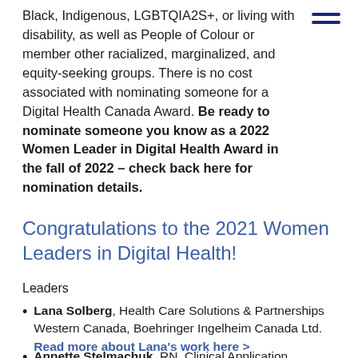Black, Indigenous, LGBTQIA2S+, or living with disability, as well as People of Colour or member other racialized, marginalized, and equity-seeking groups. There is no cost associated with nominating someone for a Digital Health Canada Award. Be ready to nominate someone you know as a 2022 Women Leader in Digital Health Award in the fall of 2022 – check back here for nomination details.
Congratulations to the 2021 Women Leaders in Digital Health!
Leaders
Lana Solberg, Health Care Solutions & Partnerships Western Canada, Boehringer Ingelheim Canada Ltd. Read more about Lana's work here >
Annette Stelmachuk, RN, Clinical Application...